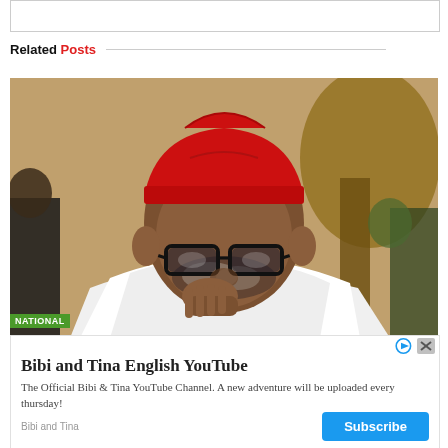Related Posts
[Figure (photo): Portrait of a man wearing a red traditional cap (fez) and glasses, with a white shawl, looking pensive. Another person is partially visible in the background.]
NATIONAL
Bibi and Tina English YouTube
The Official Bibi & Tina YouTube Channel. A new adventure will be uploaded every thursday!
Bibi and Tina
Subscribe